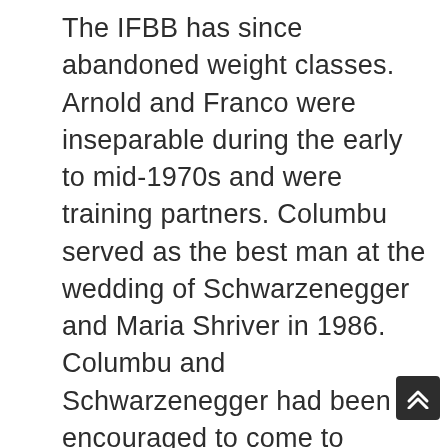The IFBB has since abandoned weight classes. Arnold and Franco were inseparable during the early to mid-1970s and were training partners. Columbu served as the best man at the wedding of Schwarzenegger and Maria Shriver in 1986. Columbu and Schwarzenegger had been encouraged to come to America by bodybuilding guru Joe Weider in 1969; Weider sponsored them with an $80/week stipend and the two European bodybuilders began a bricklaying and patio business called European Brick Works in 1969, according to a report in The New York Times.
From the time he arrived in America in 1969, Franco Columbu was considered one of the world’s strongest men. He held a number of powerlifting and Olympic weightlifting world